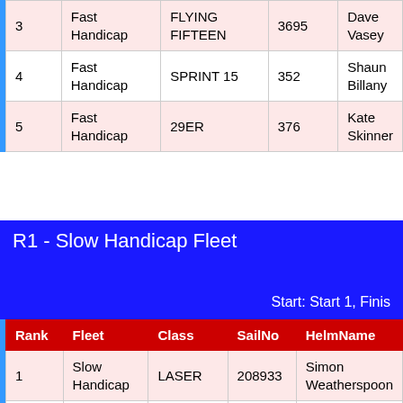| Rank | Fleet | Class | SailNo | HelmName |
| --- | --- | --- | --- | --- |
| 3 | Fast Handicap | FLYING FIFTEEN | 3695 | Dave Vasey |
| 4 | Fast Handicap | SPRINT 15 | 352 | Shaun Billany |
| 5 | Fast Handicap | 29ER | 376 | Kate Skinner |
R1 - Slow Handicap Fleet
Start: Start 1, Finis...
| Rank | Fleet | Class | SailNo | HelmName |
| --- | --- | --- | --- | --- |
| 1 | Slow Handicap | LASER | 208933 | Simon Weatherspoon |
| 2 | Slow Handicap | SOLO | 5408 | Tony King |
| 3 | Slow Handicap | LASER | 192498 | Andy Weatherspoon |
| 4 | Slow Handicap | LASER | 207287 | Greg Liggins |
| 5 | Slow | LASER | 165711 | Garth Fo... |